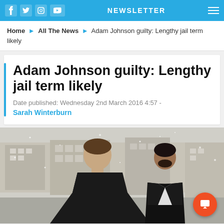NEWSLETTER
Home ▶ All The News ▶ Adam Johnson guilty: Lengthy jail term likely
Adam Johnson guilty: Lengthy jail term likely
Date published: Wednesday 2nd March 2016 4:57 - Sarah Winterburn
[Figure (photo): Two men in dark suits walking outside in snowy weather, one in foreground looking down wearing a white shirt and tie]